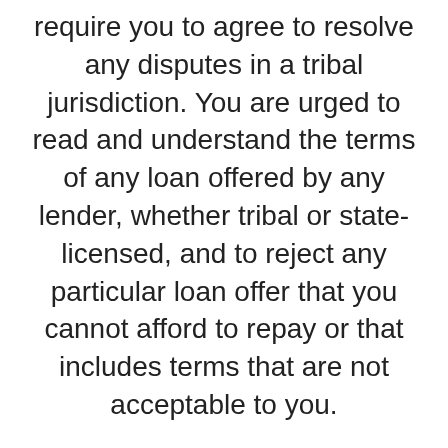require you to agree to resolve any disputes in a tribal jurisdiction. You are urged to read and understand the terms of any loan offered by any lender, whether tribal or state-licensed, and to reject any particular loan offer that you cannot afford to repay or that includes terms that are not acceptable to you.
This service is not available in all states. If you request to connect with a lender or lending partner in a particular state where such loans are prohibited, or in a location where